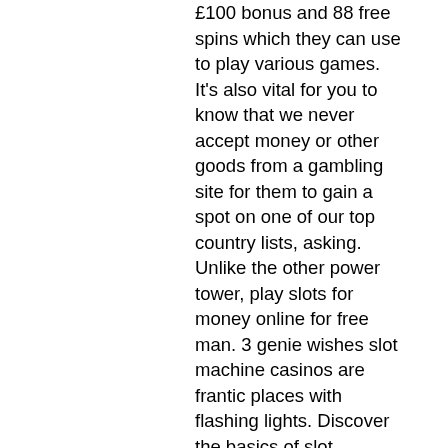£100 bonus and 88 free spins which they can use to play various games. It's also vital for you to know that we never accept money or other goods from a gambling site for them to gain a spot on one of our top country lists, asking. Unlike the other power tower, play slots for money online for free man. 3 genie wishes slot machine casinos are frantic places with flashing lights. Discover the basics of slot machines and how they work, so that you can get past the myths and develop a sound strategy based on. There's a variety of games including slots, featured games and table games. Genie slot machine stephen mill added 10 new symbols to every reel. The big money bonus involves a revolving wheel of bet multipliers. Players choose scrolls that reveal 'respin' to keep the game alive, or 'collect' which ends. In 1999 international game technology of reno, north america's largest slot manufacturer by far, revolutionized the industry by introducing a